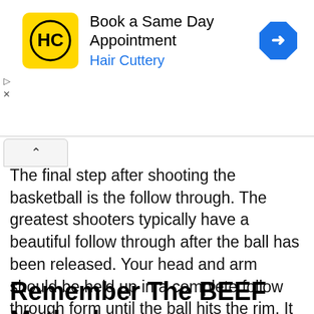[Figure (screenshot): Advertisement banner for Hair Cuttery showing logo, 'Book a Same Day Appointment' text, and a blue navigation arrow icon]
The final step after shooting the basketball is the follow through. The greatest shooters typically have a beautiful follow through after the ball has been released. Your head and arm should be held up in a complete follow through form until the ball hits the rim. It is good to practice have a long follow through after shots as it enforces the necessary shooting mechanics.
Remember The BEEF Method